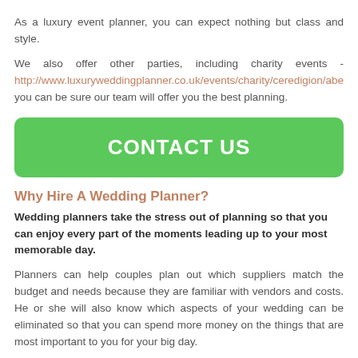As a luxury event planner, you can expect nothing but class and style.
We also offer other parties, including charity events - http://www.luxuryweddingplanner.co.uk/events/charity/ceredigion/abe you can be sure our team will offer you the best planning.
CONTACT US
Why Hire A Wedding Planner?
Wedding planners take the stress out of planning so that you can enjoy every part of the moments leading up to your most memorable day.
Planners can help couples plan out which suppliers match the budget and needs because they are familiar with vendors and costs. He or she will also know which aspects of your wedding can be eliminated so that you can spend more money on the things that are most important to you for your big day.